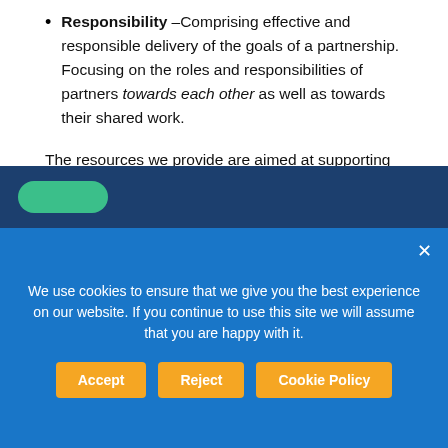Responsibility –Comprising effective and responsible delivery of the goals of a partnership. Focusing on the roles and responsibilities of partners towards each other as well as towards their shared work.
The resources we provide are aimed at supporting our grantees to work within equitable and effective partnerships, drawing on programme learning.
[Figure (screenshot): Dark blue website section with a green pill/button element visible, partially cut off at bottom of page.]
We use cookies to ensure that we give you the best experience on our website. If you continue to use this site we will assume that you are happy with it.